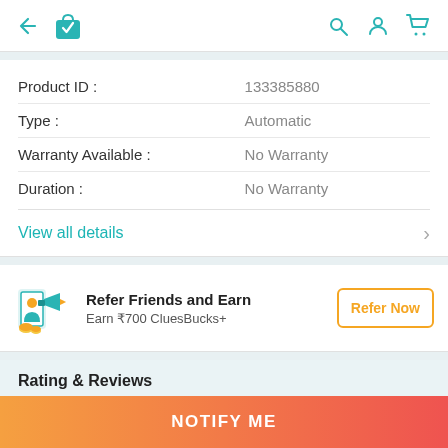Navigation bar with back arrow, shopping bag icon, search, account, and cart icons
| Field | Value |
| --- | --- |
| Product ID : | 133385880 |
| Type : | Automatic |
| Warranty Available : | No Warranty |
| Duration : | No Warranty |
View all details
[Figure (illustration): Refer Friends illustration with megaphone and coins]
Refer Friends and Earn
Earn ₹700 CluesBucks+
Refer Now
Rating & Reviews
No Ratings Yet
NOTIFY ME